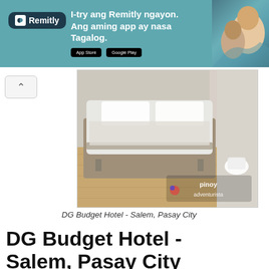[Figure (screenshot): Remitly advertisement banner with teal background, Remitly logo on left, Tagalog promotional text in center, app store badges, and photo of laughing people on right]
[Figure (photo): Hotel room photo showing a bed with white linens on a wooden floor platform, with bathroom visible in background. Pinoy Adventurista watermark in bottom right corner.]
DG Budget Hotel - Salem, Pasay City
DG Budget Hotel - Salem, Pasay City
Address: Salem Complex, Domestic Road, Pasay Airport Area, Manila, Pasay City, Philippines (just across NAIA Terminal 4)
Contact Numbers: +63 2 834 2321 / +63 2 834 2321